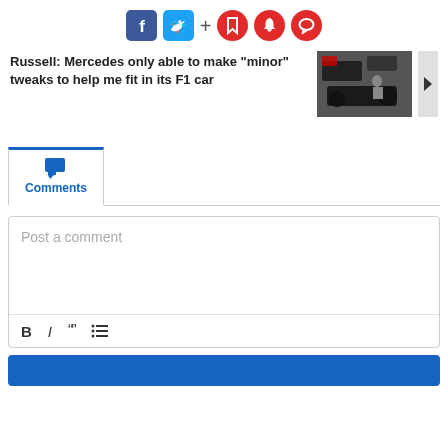[Figure (screenshot): Social media share buttons: Facebook (blue), Twitter (light blue), plus sign, and three red circle icons (bookmark, bell, comment)]
[Figure (screenshot): Article preview: 'Russell: Mercedes only able to make "minor" tweaks to help me fit in its F1 car' with a thumbnail photo of a car garage/pit area and a right arrow navigation element]
[Figure (screenshot): Comments tab section with a blue chat icon and 'Comments' label, followed by a 'Post a comment' text input box with formatting toolbar (bold, italic, quote, list) and a blue submit button at the bottom]